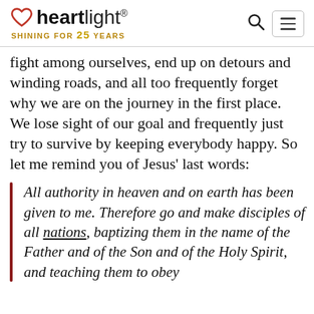heartlight® SHINING FOR 25 YEARS
fight among ourselves, end up on detours and winding roads, and all too frequently forget why we are on the journey in the first place. We lose sight of our goal and frequently just try to survive by keeping everybody happy. So let me remind you of Jesus' last words:
All authority in heaven and on earth has been given to me. Therefore go and make disciples of all nations, baptizing them in the name of the Father and of the Son and of the Holy Spirit, and teaching them to obey